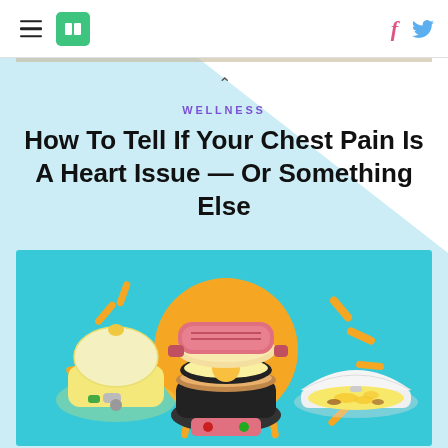HuffPost - hamburger menu, logo, Facebook and Twitter icons
WELLNESS
How To Tell If Your Chest Pain Is A Heart Issue — Or Something Else
[Figure (photo): Colorful product image showing kitchen egg-cooking appliances on a teal background: a yellow egg cooker on the left, a sandwich maker in the center, and a white microwave omelet cooker on the right, with orange starburst rays.]